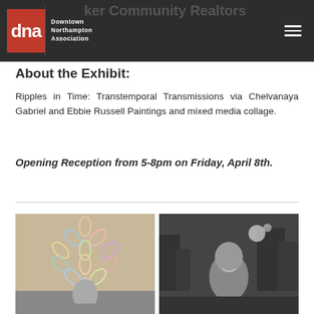Downtown Northampton Association — Community Realtors
About the Exhibit:
Ripples in Time: Transtemporal Transmissions via Chelvanaya Gabriel and Ebbie Russell Paintings and mixed media collage.
Opening Reception from 5-8pm on Friday, April 8th.
[Figure (photo): Two side-by-side images: left shows a colorful cross/quilt-pattern artwork with leaf shapes on a warm background; right shows a black and white portrait photo of a smiling woman with long hair, with buildings visible in the background.]